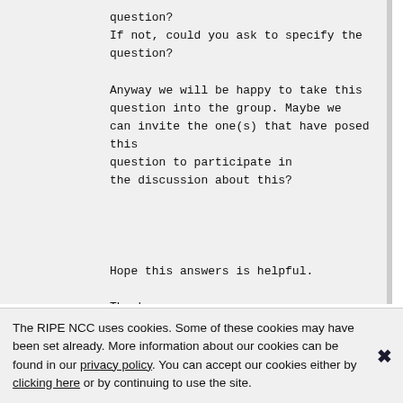question?
If not, could you ask to specify the question?

Anyway we will be happy to take this question into the group. Maybe we can invite the one(s) that have posed this question to participate in the discussion about this?



Hope this answers is helpful.

Thanks,

Tobias
--
AA-WG Co-Chair
The RIPE NCC uses cookies. Some of these cookies may have been set already. More information about our cookies can be found in our privacy policy. You can accept our cookies either by clicking here or by continuing to use the site.